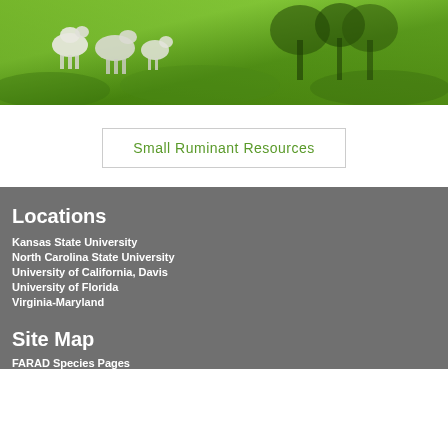[Figure (photo): Photo of white goats/animals grazing on a bright green grass field]
Small Ruminant Resources
Locations
Kansas State University
North Carolina State University
University of California, Davis
University of Florida
Virginia-Maryland
Site Map
FARAD Species Pages